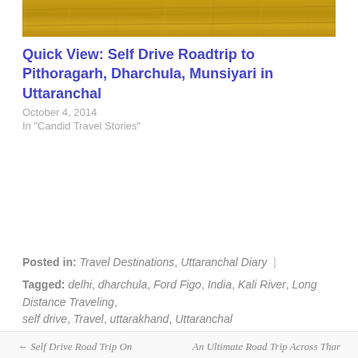[Figure (photo): A golden-yellow wheat field or grassland photograph cropped at the top of the page]
Quick View: Self Drive Roadtrip to Pithoragarh, Dharchula, Munsiyari in Uttaranchal
October 4, 2014
In "Candid Travel Stories"
Posted in: Travel Destinations, Uttaranchal Diary |
Tagged: delhi, dharchula, Ford Figo, India, Kali River, Long Distance Traveling, self drive, Travel, uttarakhand, Uttaranchal
← Self Drive Road Trip On Unexplored Road From Dharchula To Munsiyari Via Jauljibi In Uttaranchal, India
An Ultimate Road Trip Across Thar Desert To Bikaner & Jaisalmer In Rajasthan →